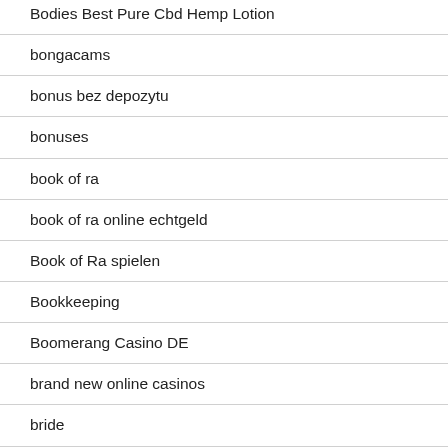Bodies Best Pure Cbd Hemp Lotion
bongacams
bonus bez depozytu
bonuses
book of ra
book of ra online echtgeld
Book of Ra spielen
Bookkeeping
Boomerang Casino DE
brand new online casinos
bride